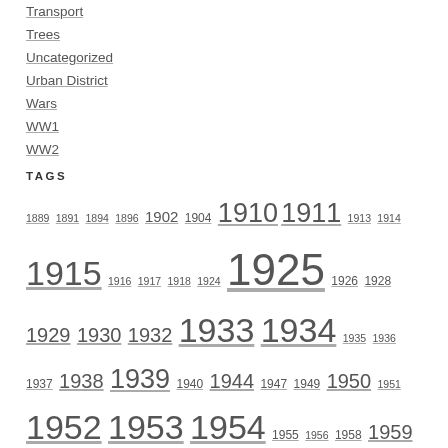Transport
Trees
Uncategorized
Urban District
Wars
WW1
WW2
TAGS
1889 1891 1894 1896 1902 1904 1910 1911 1913 1914 1915 1916 1917 1918 1924 1925 1926 1928 1929 1930 1932 1933 1934 1935 1936 1937 1938 1939 1940 1944 1947 1949 1950 1951 1952 1953 1954 1955 1956 1958 1959 1960 1961 1962 1963 1965 1973 1974 1977 1987 Bond Road Carshalton Road Chart Church Road Colliers Wood Commonside East Cricket Green Fair Green Isaac Wilson Lewis Road London Road Love Lane Lower Green West Mitcham Common Mitcham Cricket Club Morden Road Phipps Bridge Road Streatham Road